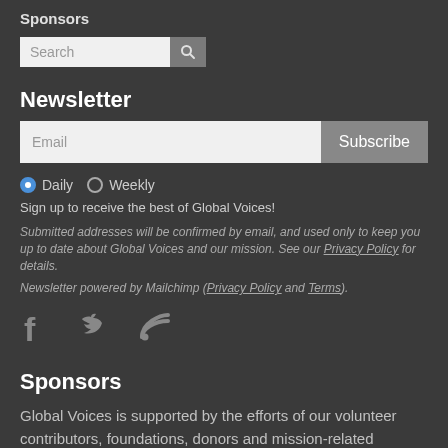Sponsors
Search [search input with button]
Newsletter
Email [input] Subscribe [button]
Daily  Weekly
Sign up to receive the best of Global Voices!
Submitted addresses will be confirmed by email, and used only to keep you up to date about Global Voices and our mission. See our Privacy Policy for details.
Newsletter powered by Mailchimp (Privacy Policy and Terms).
[Figure (illustration): Social media icons: Facebook, Twitter, RSS feed]
Sponsors
Global Voices is supported by the efforts of our volunteer contributors, foundations, donors and mission-related services. For more information please read our Fundraising Ethics Policy.